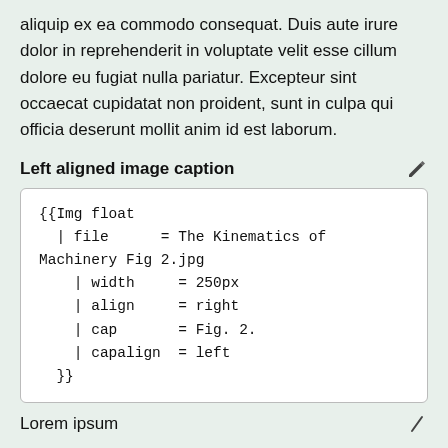aliquip ex ea commodo consequat. Duis aute irure dolor in reprehenderit in voluptate velit esse cillum dolore eu fugiat nulla pariatur. Excepteur sint occaecat cupidatat non proident, sunt in culpa qui officia deserunt mollit anim id est laborum.
Left aligned image caption
{{Img float
  | file      = The Kinematics of Machinery Fig 2.jpg
    | width     = 250px
    | align     = right
    | cap       = Fig. 2.
    | capalign  = left
  }}
Lorem ipsum